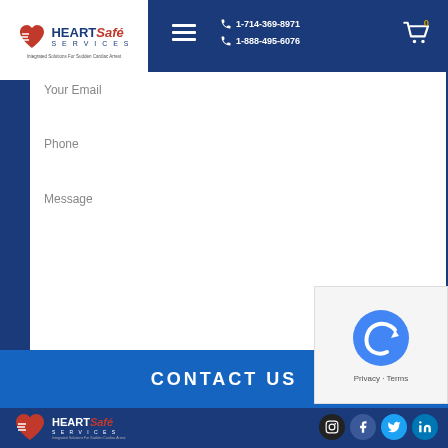[Figure (logo): HeartSafe Services logo with red heart and swoosh, with tagline 'Integrated Solutions For Sudden Cardiac Arrest']
1-714-369-8971
1-888-495-6076
Your Email
Phone
Message
CONTACT US
[Figure (other): reCAPTCHA widget with robot checkbox icon, Privacy and Terms links]
[Figure (logo): HeartSafe Services footer logo]
[Figure (infographic): Social media icons: Instagram, Facebook, Twitter, LinkedIn]